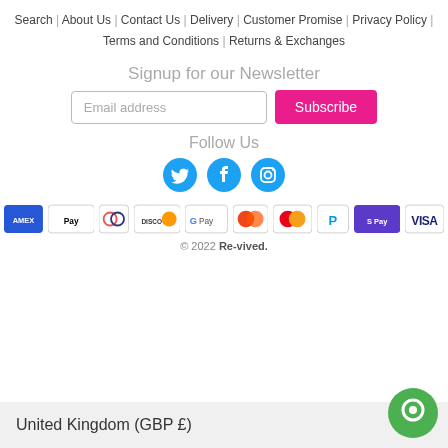Search | About Us | Contact Us | Delivery | Customer Promise | Privacy Policy | Terms and Conditions | Returns & Exchanges
Signup for our Newsletter
Follow Us
[Figure (infographic): Social media icons: Twitter (cyan circle), Facebook (cyan circle), Instagram (cyan circle)]
[Figure (infographic): Payment method badges: AMEX, Apple Pay, Diners Club, Discover, Google Pay, Maestro, Mastercard, PayPal, Shopify Pay, Visa]
© 2022 Re-vived.
United Kingdom (GBP £)